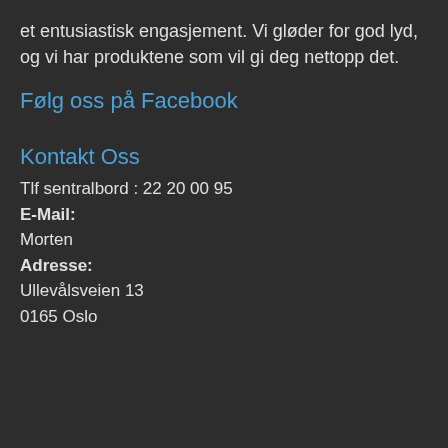et entusiastisk engasjement. Vi gløder for god lyd, og vi har produktene som vil gi deg nettopp det.
Følg oss på Facebook
Kontakt Oss
Tlf sentralbord : 22 20 00 95
E-Mail:
Morten
Adresse:
Ullevålsveien 13
0165 Oslo